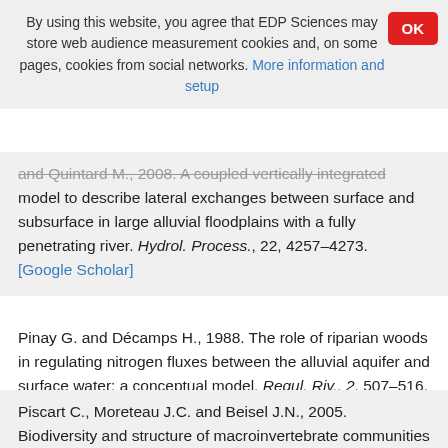By using this website, you agree that EDP Sciences may store web audience measurement cookies and, on some pages, cookies from social networks. More information and setup
OK
and Quintard M., 2008. A coupled vertically integrated model to describe lateral exchanges between surface and subsurface in large alluvial floodplains with a fully penetrating river. Hydrol. Process., 22, 4257–4273. [Google Scholar]
Pinay G. and Décamps H., 1988. The role of riparian woods in regulating nitrogen fluxes between the alluvial aquifer and surface water: a conceptual model. Regul. Riv., 2, 507–516. [Google Scholar]
Piscart C., Moreteau J.C. and Beisel J.N., 2005. Biodiversity and structure of macroinvertebrate communities along a small permanent salinity gradient